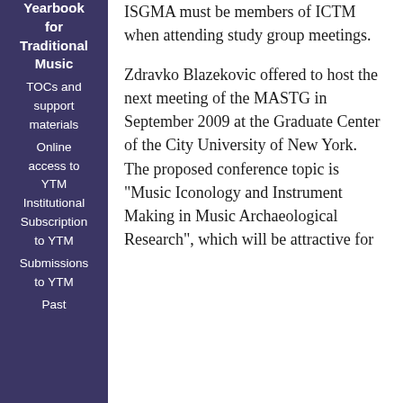Yearbook for Traditional Music TOCs and support materials Online access to YTM Institutional Subscription to YTM Submissions to YTM Past
ISGMA must be members of ICTM when attending study group meetings.
Zdravko Blazekovic offered to host the next meeting of the MASTG in September 2009 at the Graduate Center of the City University of New York. The proposed conference topic is "Music Iconology and Instrument Making in Music Archaeological Research", which will be attractive for